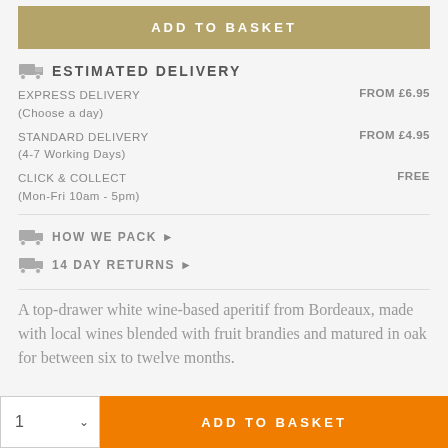ADD TO BASKET
ESTIMATED DELIVERY
EXPRESS DELIVERY (Choose a day) — FROM £6.95
STANDARD DELIVERY (4-7 Working Days) — FROM £4.95
CLICK & COLLECT (Mon-Fri 10am - 5pm) — FREE
HOW WE PACK ▶
14 DAY RETURNS ▶
A top-drawer white wine-based aperitif from Bordeaux, made with local wines blended with fruit brandies and matured in oak for between six to twelve months.
1 ∨   ADD TO BASKET